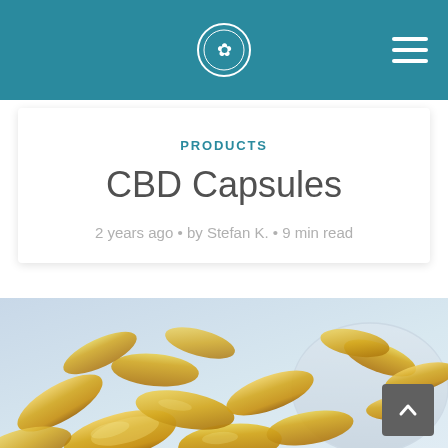Navigation bar with logo and hamburger menu
PRODUCTS
CBD Capsules
2 years ago • by Stefan K. • 9 min read
[Figure (photo): Golden/amber gel capsules (CBD oil capsules) scattered on a light blue background and in a glass bowl, close-up macro photograph]